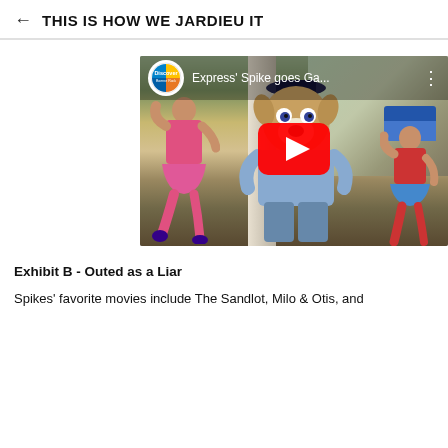THIS IS HOW WE JARDIEU IT
[Figure (screenshot): YouTube video thumbnail showing Express' Spike (a dog mascot in a hat and blue outfit) dancing with two girls. The video title reads 'Express' Spike goes Ga...' with a Discover logo. A red YouTube play button is centered on the image.]
Exhibit B - Outed as a Liar
Spikes' favorite movies include The Sandlot, Milo & Otis, and